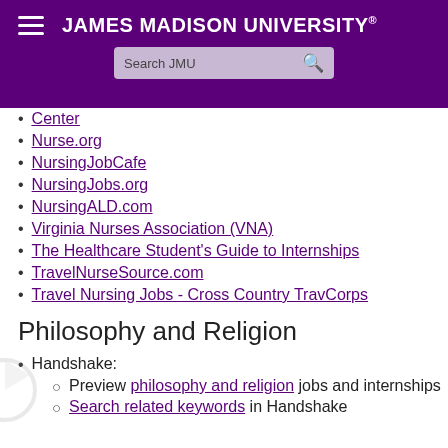James Madison University — navigation header with search bar
Center (partial link)
Nurse.org
NursingJobCafe
NursingJobs.org
NursingALD.com
Virginia Nurses Association (VNA)
The Healthcare Student's Guide to Internships
TravelNurseSource.com
Travel Nursing Jobs - Cross Country TravCorps
Philosophy and Religion
Handshake:
Preview philosophy and religion jobs and internships
Search related keywords in Handshake